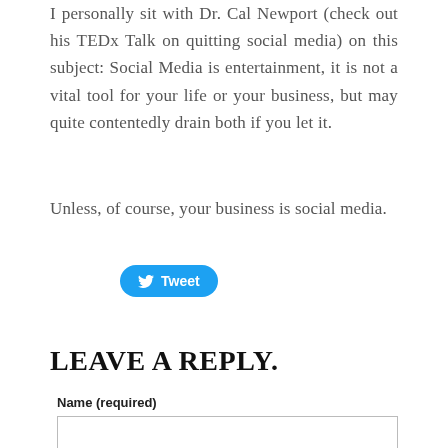I personally sit with Dr. Cal Newport (check out his TEDx Talk on quitting social media) on this subject: Social Media is entertainment, it is not a vital tool for your life or your business, but may quite contentedly drain both if you let it.
Unless, of course, your business is social media.
[Figure (other): Tweet button with Twitter bird logo in blue rounded rectangle]
LEAVE A REPLY.
Name (required)
Email (not published)